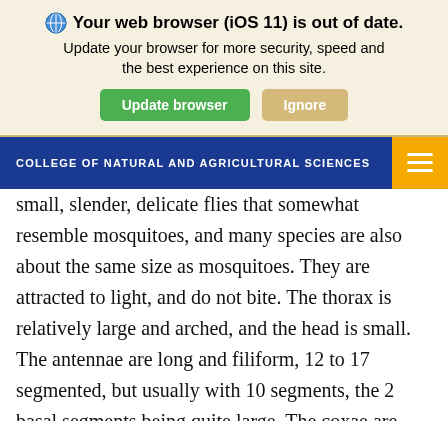Your web browser (iOS 11) is out of date. Update your browser for more security, speed and the best experience on this site.
COLLEGE OF NATURAL AND AGRICULTURAL SCIENCES
small, slender, delicate flies that somewhat resemble mosquitoes, and many species are also about the same size as mosquitoes. They are attracted to light, and do not bite. The thorax is relatively large and arched, and the head is small. The antennae are long and filiform, 12 to 17 segmented, but usually with 10 segments, the 2 basal segments being quite large. The coxae are long, the coxae and femora are thickened, and the tibiae have prominent distal spurs and usually a series of